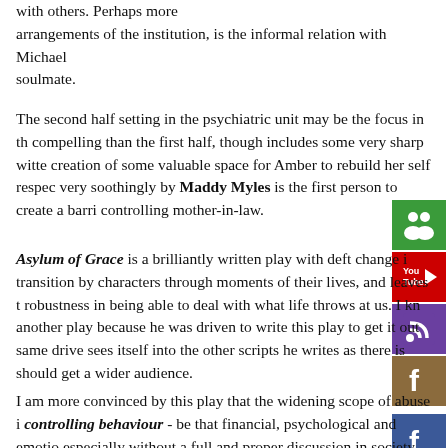with others. Perhaps more arrangements of the institution, is the informal relation with Michael soulmate.
The second half setting in the psychiatric unit may be the focus in th compelling than the first half, though includes some very sharp witte creation of some valuable space for Amber to rebuild her self respec very soothingly by Maddy Myles is the first person to create a barri controlling mother-in-law.
Asylum of Grace is a brilliantly written play with deft change i transition by characters through moments of their lives, and leaves t robustness in being able to deal with what life throws at us. I kn another play because he was driven to write this play to get it out same drive sees itself into the other scripts he writes as there is should get a wider audience.
I am more convinced by this play that the widening scope of abuse i controlling behaviour - be that financial, psychological and emotio especially without a full and proper discussion in society about it. T